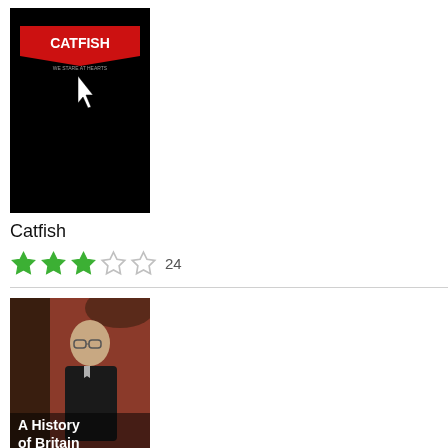[Figure (photo): Catfish book/documentary cover - black background with red catfish image and cursor arrow, white text]
Catfish
[Figure (other): Star rating: 3 out of 5 green stars, count 24]
[Figure (photo): A History of Britain book cover - man in glasses and dark suit on red/brown background, white bold title text at bottom]
A History of Britain